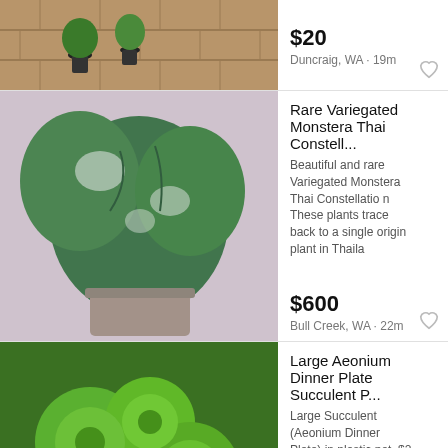[Figure (photo): Small potted plants on brick ground]
$20
Duncraig, WA · 19m
Rare Variegated Monstera Thai Constell...
[Figure (photo): Large variegated Monstera Thai Constellation plant]
Beautiful and rare Variegated Monstera Thai Constellatio n These plants trace back to a single origin plant in Thaila
$600
Bull Creek, WA · 22m
Large Aeonium Dinner Plate Succulent P...
[Figure (photo): Large Aeonium Dinner Plate succulent plants]
Large Succulent (Aeonium Dinner Plate) in plastic pot. $20.
$20
Ballajura, WA · 28m
Potted beautiful bromeliad plants
[Figure (photo): Bromeliad plants in blue pots]
Potted bromeliad plants for sale $3 each, larger 5 each. They are pink and red flowers, healthy with roots coming o
$3
Mirrabooka, WA · 1h
Have Meliflua long and big cutting